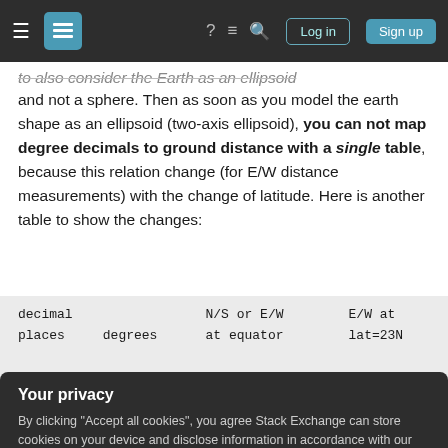Stack Exchange navigation bar with hamburger menu, logo, question mark, comment, search icons, Log in and Sign up buttons
to also consider the Earth as an ellipsoid and not a sphere. Then as soon as you model the earth shape as an ellipsoid (two-axis ellipsoid), you can not map degree decimals to ground distance with a single table, because this relation change (for E/W distance measurements) with the change of latitude. Here is another table to show the changes:
| decimal places | degrees | N/S or E/W at equator | E/W at lat=23N |
| --- | --- | --- | --- |
| 7 | 0.0000001 | 1.1132 cm | 10.247 |
Your privacy
By clicking "Accept all cookies", you agree Stack Exchange can store cookies on your device and disclose information in accordance with our Cookie Policy.
Accept all cookies   Customize settings